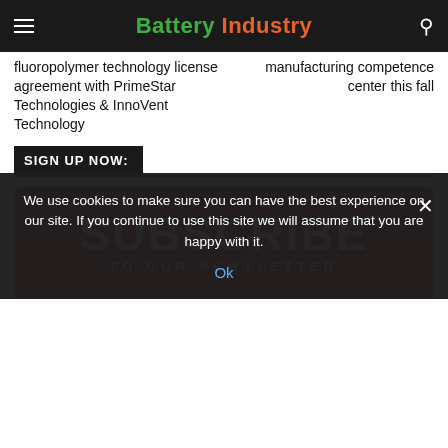Battery Industry
fluoropolymer technology license agreement with PrimeStar Technologies & InnoVent Technology
manufacturing competence center this fall
SIGN UP NOW:
[Figure (other): Red subscribe banner with text SUBSCRIBE TO OUR NEWSLETTER]
We use cookies to make sure you can have the best experience on our site. If you continue to use this site we will assume that you are happy with it.
Ok